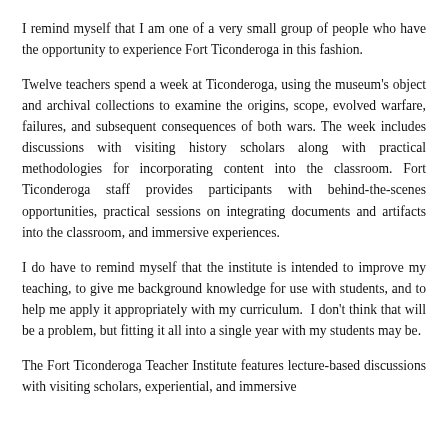I remind myself that I am one of a very small group of people who have the opportunity to experience Fort Ticonderoga in this fashion.
Twelve teachers spend a week at Ticonderoga, using the museum's object and archival collections to examine the origins, scope, evolved warfare, failures, and subsequent consequences of both wars. The week includes discussions with visiting history scholars along with practical methodologies for incorporating content into the classroom. Fort Ticonderoga staff provides participants with behind-the-scenes opportunities, practical sessions on integrating documents and artifacts into the classroom, and immersive experiences.
I do have to remind myself that the institute is intended to improve my teaching, to give me background knowledge for use with students, and to help me apply it appropriately with my curriculum.  I don't think that will be a problem, but fitting it all into a single year with my students may be.
The Fort Ticonderoga Teacher Institute features lecture-based discussions with visiting scholars, experiential, and immersive